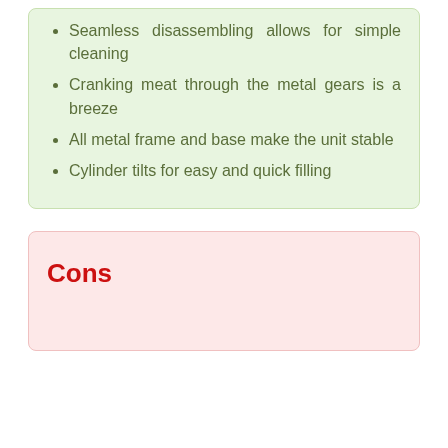Seamless disassembling allows for simple cleaning
Cranking meat through the metal gears is a breeze
All metal frame and base make the unit stable
Cylinder tilts for easy and quick filling
Cons